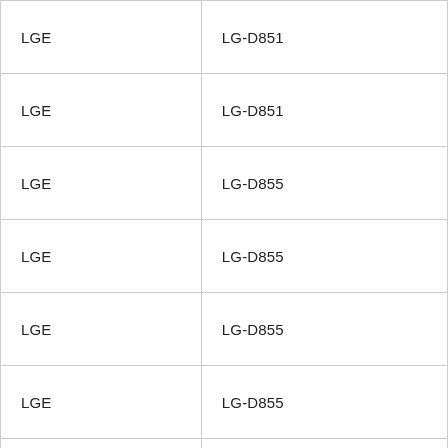| LGE | LG-D851 |
| LGE | LG-D851 |
| LGE | LG-D855 |
| LGE | LG-D855 |
| LGE | LG-D855 |
| LGE | LG-D855 |
| LGE | LG-D855 |
| LGE | LG-D857 |
| LGE | LG-D857 |
| LGE |  |